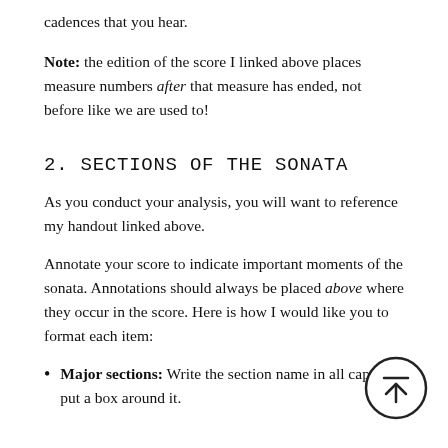cadences that you hear.
Note: the edition of the score I linked above places measure numbers after that measure has ended, not before like we are used to!
2. SECTIONS OF THE SONATA
As you conduct your analysis, you will want to reference my handout linked above.
Annotate your score to indicate important moments of the sonata. Annotations should always be placed above where they occur in the score. Here is how I would like you to format each item:
Major sections: Write the section name in all caps and put a box around it.
[Figure (illustration): A circular back-to-top button with an upward arrow and a horizontal line above the arrow, rendered in black outline on white background.]